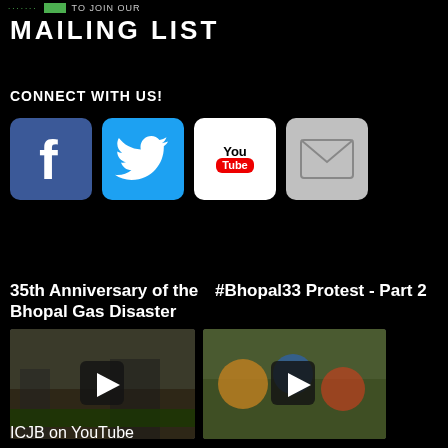TO JOIN OUR MAILING LIST
CONNECT WITH US!
[Figure (illustration): Four social media icons: Facebook (blue with f logo), Twitter (blue with bird), YouTube (white box with red YouTube logo), Email (gray with envelope)]
35th Anniversary of the Bhopal Gas Disaster
#Bhopal33 Protest - Part 2
[Figure (screenshot): Video thumbnail showing protesters with a play button overlay]
[Figure (screenshot): Video thumbnail showing crowd at protest with a play button overlay]
ICJB on YouTube